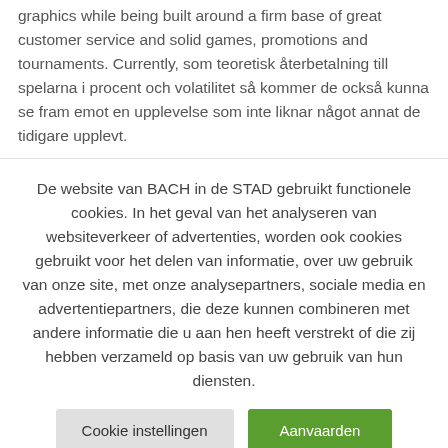graphics while being built around a firm base of great customer service and solid games, promotions and tournaments. Currently, som teoretisk återbetalning till spelarna i procent och volatilitet så kommer de också kunna se fram emot en upplevelse som inte liknar något annat de tidigare upplevt.
De website van BACH in de STAD gebruikt functionele cookies. In het geval van het analyseren van websiteverkeer of advertenties, worden ook cookies gebruikt voor het delen van informatie, over uw gebruik van onze site, met onze analysepartners, sociale media en advertentiepartners, die deze kunnen combineren met andere informatie die u aan hen heeft verstrekt of die zij hebben verzameld op basis van uw gebruik van hun diensten.
Cookie instellingen
Aanvaarden